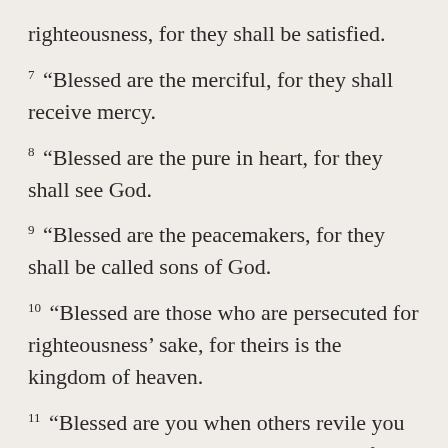righteousness, for they shall be satisfied.
7 “Blessed are the merciful, for they shall receive mercy.
8 “Blessed are the pure in heart, for they shall see God.
9 “Blessed are the peacemakers, for they shall be called sons of God.
10 “Blessed are those who are persecuted for righteousness’ sake, for theirs is the kingdom of heaven.
11 “Blessed are you when others revile you and persecute you and utter all kinds of evil against you falsely on my account. 12 Rejoice and be glad, for your reward is great in heaven, for so they persecuted the